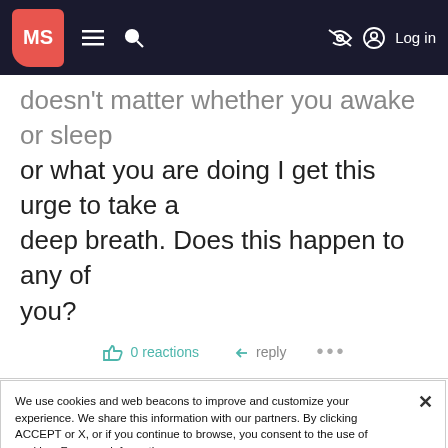MS [logo] — navigation bar with hamburger menu, search, hide icon, Log in
doesn't matter whether you awake or sleep or what you are doing I get this urge to take a deep breath. Does this happen to any of you?
0 reactions   reply   ...
We use cookies and web beacons to improve and customize your experience. We share this information with our partners. By clicking ACCEPT or X, or if you continue to browse, you consent to the use of cookies. For more information, see our Privacy Policy.
Manage Cookies   Accept Cookies